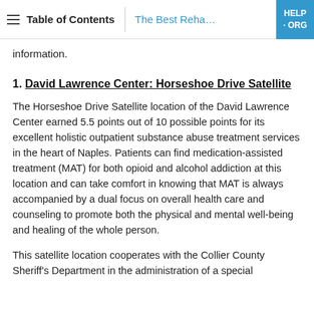Table of Contents | The Best Reha... | HELP · ORG
information.
1. David Lawrence Center: Horseshoe Drive Satellite
The Horseshoe Drive Satellite location of the David Lawrence Center earned 5.5 points out of 10 possible points for its excellent holistic outpatient substance abuse treatment services in the heart of Naples. Patients can find medication-assisted treatment (MAT) for both opioid and alcohol addiction at this location and can take comfort in knowing that MAT is always accompanied by a dual focus on overall health care and counseling to promote both the physical and mental well-being and healing of the whole person.
This satellite location cooperates with the Collier County Sheriff's Department in the administration of a special